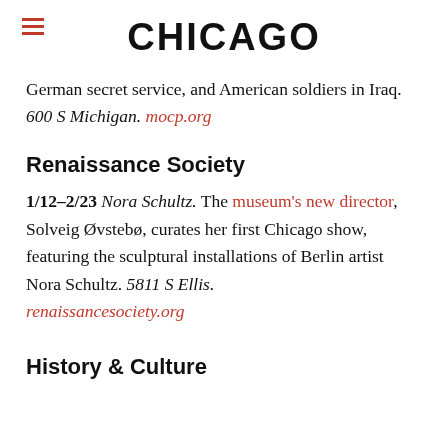CHICAGO
German secret service, and American soldiers in Iraq. 600 S Michigan. mocp.org
Renaissance Society
1/12–2/23 Nora Schultz. The museum's new director, Solveig Øvstebø, curates her first Chicago show, featuring the sculptural installations of Berlin artist Nora Schultz. 5811 S Ellis. renaissancesociety.org
History & Culture